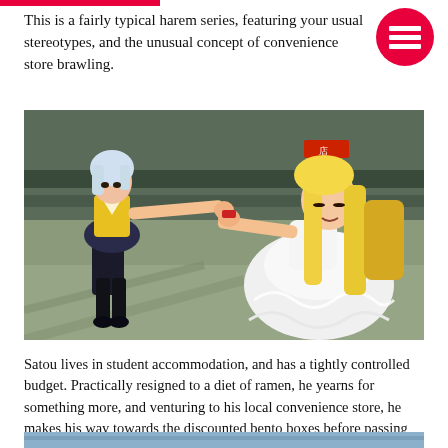This is a fairly typical harem series, featuring your usual stereotypes, and the unusual concept of convenience store brawling.
[Figure (illustration): Anime scene showing two female characters fighting in a convenience store. Left character has white/silver hair wearing yellow top and dark skirt with black stockings, throwing a punch. Right character has long blonde hair wearing a white frilly dress, recoiling.]
Satou lives in student accommodation, and has a tightly controlled budget. Practically resigned to a diet of ramen, he yearns for something more, and venturing to his local convenience store, he makes his way towards the discounted bento boxes before passing out.
[Figure (illustration): Bottom partial image of another anime scene, partially cut off at the bottom of the page.]